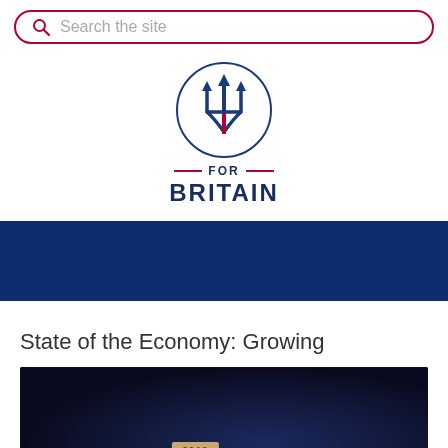Search the site
[Figure (logo): For Britain party logo — trident inside a circle with the text FOR BRITAIN below]
[Figure (photo): Dark blue banner header section]
State of the Economy: Growing
[Figure (photo): Dark background image with a wooden block labeled 2019]